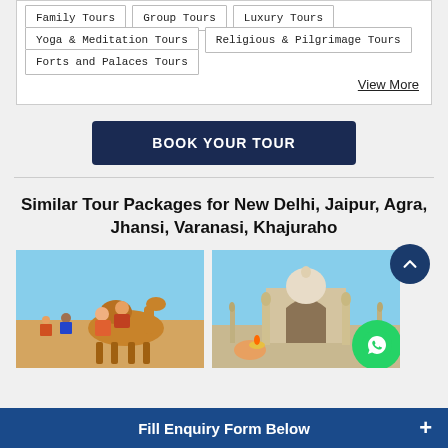Family Tours
Group Tours
Luxury Tours
Yoga & Meditation Tours
Religious & Pilgrimage Tours
Forts and Palaces Tours
View More
BOOK YOUR TOUR
Similar Tour Packages for New Delhi, Jaipur, Agra, Jhansi, Varanasi, Khajuraho
[Figure (photo): People riding camels in a desert setting]
[Figure (photo): Humayun's Tomb monument with blue sky, with WhatsApp icon overlay]
Fill Enquiry Form Below